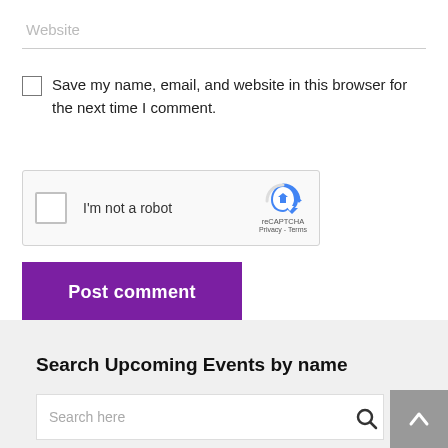Website
Save my name, email, and website in this browser for the next time I comment.
[Figure (screenshot): reCAPTCHA widget with checkbox labeled I'm not a robot and reCAPTCHA logo with Privacy - Terms text]
Post comment
Search Upcoming Events by name
Search here